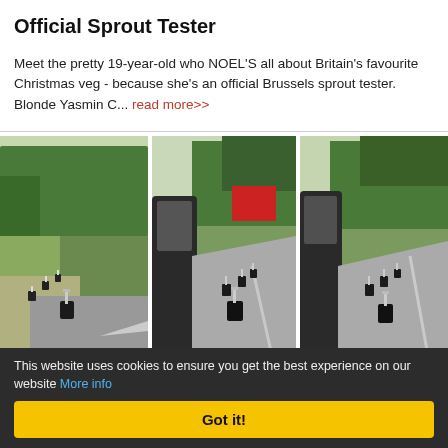Official Sprout Tester
Meet the pretty 19-year-old who NOEL'S all about Britain's favourite Christmas veg - because she's an official Brussels sprout tester. Blonde Yasmin C... read more>>
[Figure (photo): Three side-by-side road scene photos showing small black plant pots with white crosses lined along a rural road, viewed from a car window. Trees and greenery in background.]
This website uses cookies to ensure you get the best experience on our website More info
Got it!